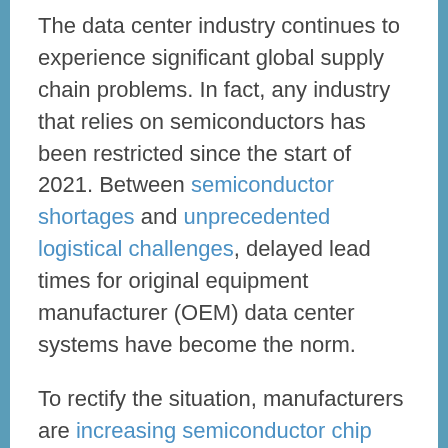The data center industry continues to experience significant global supply chain problems. In fact, any industry that relies on semiconductors has been restricted since the start of 2021. Between semiconductor shortages and unprecedented logistical challenges, delayed lead times for original equipment manufacturer (OEM) data center systems have become the norm.
To rectify the situation, manufacturers are increasing semiconductor chip production. However, due to the